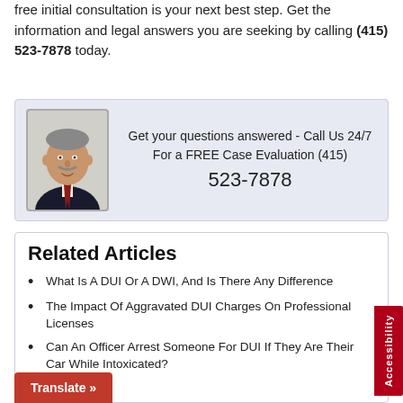free initial consultation is your next best step. Get the information and legal answers you are seeking by calling (415) 523-7878 today.
[Figure (photo): Portrait photo of an attorney in a dark suit with a tie, grey hair and mustache]
Get your questions answered - Call Us 24/7 For a FREE Case Evaluation (415) 523-7878
Related Articles
What Is A DUI Or A DWI, And Is There Any Difference
The Impact Of Aggravated DUI Charges On Professional Licenses
Can An Officer Arrest Someone For DUI If They Are Their Car While Intoxicated?